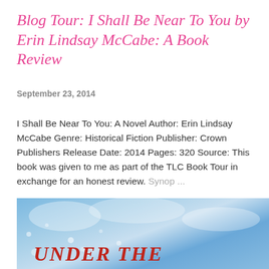Blog Tour: I Shall Be Near To You by Erin Lindsay McCabe: A Book Review
September 23, 2014
I Shall Be Near To You: A Novel Author: Erin Lindsay McCabe Genre: Historical Fiction Publisher: Crown Publishers Release Date: 2014 Pages: 320 Source: This book was given to me as part of the TLC Book Tour in exchange for an honest review. Synop ...
SHARE   6 COMMENTS   READ MORE
[Figure (photo): Partial book cover image showing a blue sky background with large red italic text reading 'UNDER THE']